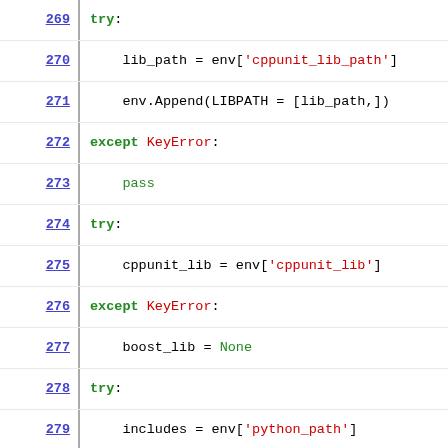[Figure (screenshot): Python source code snippet showing lines 269-290 with syntax highlighting. Green keywords (try, except, pass), red string literals (dictionary keys), green None value, black default text, with line numbers in blue underlined on left column.]